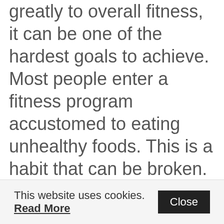greatly to overall fitness, it can be one of the hardest goals to achieve. Most people enter a fitness program accustomed to eating unhealthy foods. This is a habit that can be broken. The quicker the fitness enthusiast acclimates to a healthy diet the faster cravings for junk food will disappear.
Eggs are a great way to start your morning and they provide you with the essential protein that is necessary to extend your workout. Also, eggs are a great type of food to consume if you want to feel full during the course of the day, which can prevent you from resorting to junk food.
Isn't creating your own personal fitness
This website uses cookies. Read More  Close